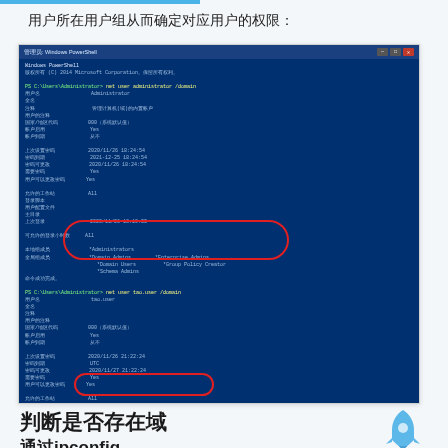用户所在用户组从而确定对应用户的权限：
[Figure (screenshot): Windows PowerShell window showing 'net user administrator /domain' and 'net user tao.user /domain' commands output. Two red oval highlights circle the group membership fields showing Administrator group entries and 'Domain Users' group.]
判断是否存在域
通过ipconfig